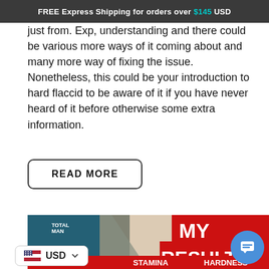FREE Express Shipping for orders over $145 USD
just from. Exp, understanding and there could be various more ways of it coming about and many more way of fixing the issue. Nonetheless, this could be your introduction to hard flaccid to be aware of it if you have never heard of it before otherwise some extra information.
READ MORE
[Figure (photo): Promotional image showing a young man pointing down with red bold text 'MY RESULTS' and a red bar at the bottom reading 'SIZE  STAMINA  HARDNESS' with icons below]
[Figure (infographic): Bottom portion of the results infographic showing SIZE, STAMINA, HARDNESS icons with partial images. Includes a USD currency selector widget and a chat support widget.]